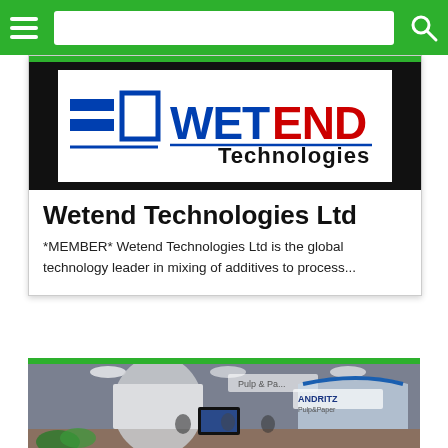[Figure (logo): Wetend Technologies Ltd company logo with blue and red text and geometric icon on white background]
Wetend Technologies Ltd
*MEMBER* Wetend Technologies Ltd is the global technology leader in mixing of additives to process...
[Figure (photo): Exhibition hall photo showing Pulp & Paper trade show booths with displays and attendees]